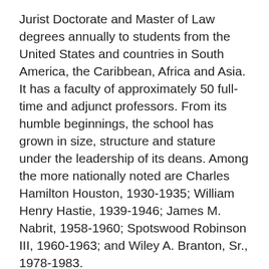Jurist Doctorate and Master of Law degrees annually to students from the United States and countries in South America, the Caribbean, Africa and Asia. It has a faculty of approximately 50 full-time and adjunct professors. From its humble beginnings, the school has grown in size, structure and stature under the leadership of its deans. Among the more nationally noted are Charles Hamilton Houston, 1930-1935; William Henry Hastie, 1939-1946; James M. Nabrit, 1958-1960; Spotswood Robinson III, 1960-1963; and Wiley A. Branton, Sr., 1978-1983.
In 1872, the law school graduated the first black woman lawyer, Charlotte E. Ray. She is also recognized as the first woman to be admitted to practice law before the Supreme Court of the District of Columbia. James C. Napier, another 1872 graduate, was the Registrar of the United States